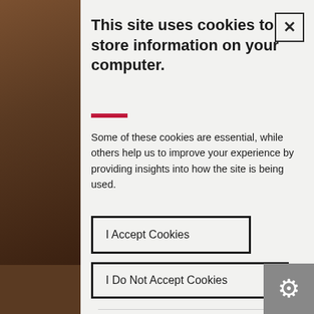This site uses cookies to store information on your computer.
Some of these cookies are essential, while others help us to improve your experience by providing insights into how the site is being used.
I Accept Cookies
I Do Not Accept Cookies
Necessary Cookies
Necessary cookies enable core functionality